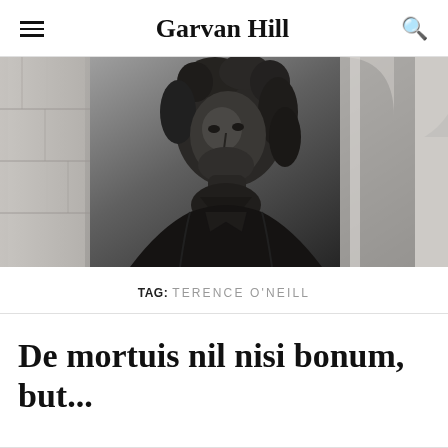Garvan Hill
[Figure (photo): Close-up photograph of a dark bronze statue of a man in 18th-century dress with ruffled cravat and jacket, against a stone architectural background with columns and arches.]
TAG: TERENCE O'NEILL
De mortuis nil nisi bonum, but...